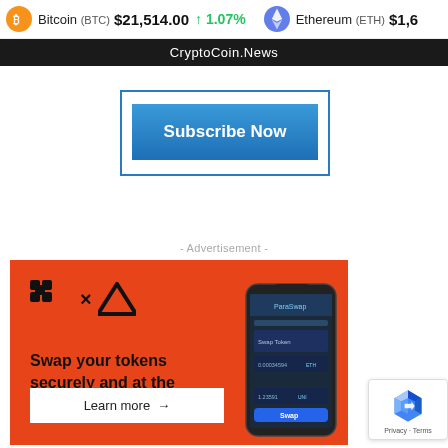Bitcoin (BTC) $21,514.00 ↑ 1.07%   Ethereum (ETH) $1,6...
CryptoCoin.News
[Figure (screenshot): Subscribe Now button inside blue-bordered box]
- Advertisement -
[Figure (infographic): Orange advertisement banner for token swap service with logo icons, text 'Swap your tokens securely and at the best rates.' and Learn more button, plus phone mockup screenshot]